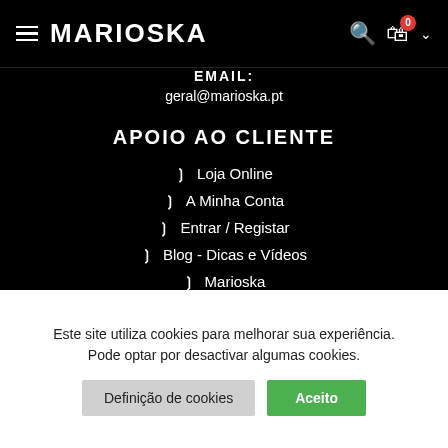MARIOSKA — navigation header with hamburger menu, logo, search, cart (0), and dropdown
[Figure (screenshot): Filter/equalizer icon button in white box on left side]
EMAIL:
geral@marioska.pt
APOIO AO CLIENTE
Loja Online
A Minha Conta
Entrar / Registar
Blog - Dicas e Vídeos
Marioska
Este site utiliza cookies para melhorar sua experiência. Pode optar por desactivar algumas cookies.
Definição de cookies
Aceito